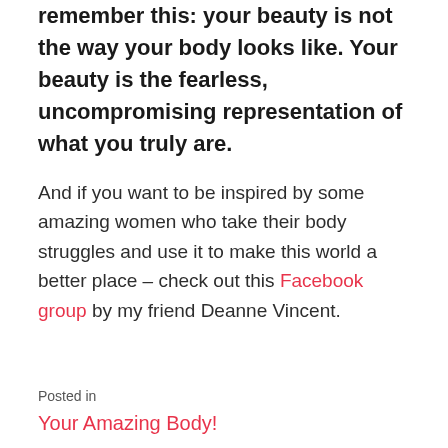remember this: your beauty is not the way your body looks like. Your beauty is the fearless, uncompromising representation of what you truly are.
And if you want to be inspired by some amazing women who take their body struggles and use it to make this world a better place – check out this Facebook group by my friend Deanne Vincent.
Posted in
Your Amazing Body!